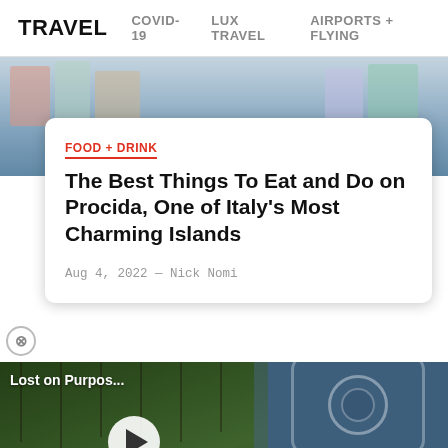TRAVEL   COVID-19   LUX TRAVEL   AIRPORTS + FLYING
[Figure (photo): Colorful coastal town buildings, top portion of article page hero image]
FOOD + DRINK
The Best Things To Eat and Do on Procida, One of Italy's Most Charming Islands
Aug 4, 2022 — Nick Nomi
[Figure (screenshot): Video thumbnail showing a person kayaking in a forested wetland, with play button overlay and title 'Lost on Purpos...']
[Figure (photo): Blue-tinted background with camera/gear imagery in lower right portion of page]